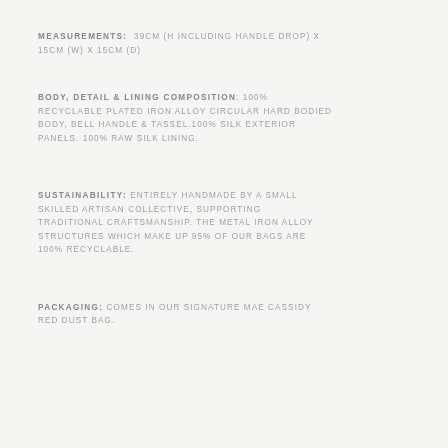MEASUREMENTS: 39CM (H INCLUDING HANDLE DROP) X 15CM (W) X 15CM (D)
BODY, DETAIL & LINING COMPOSITION: 100% RECYCLABLE PLATED IRON ALLOY CIRCULAR HARD BODIED BODY, BELL HANDLE & TASSEL.100% SILK EXTERIOR PANELS. 100% RAW SILK LINING.
SUSTAINABILITY: ENTIRELY HANDMADE BY A SMALL SKILLED ARTISAN COLLECTIVE, SUPPORTING TRADITIONAL CRAFTSMANSHIP. THE METAL IRON ALLOY STRUCTURES WHICH MAKE UP 95% OF OUR BAGS ARE 100% RECYCLABLE.
PACKAGING: COMES IN OUR SIGNATURE MAE CASSIDY RED DUST BAG.